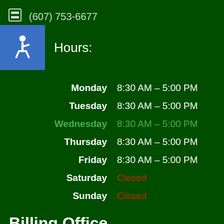(607) 753-6677
Hours:
| Day | Hours |
| --- | --- |
| Monday | 8:30 AM – 5:00 PM |
| Tuesday | 8:30 AM – 5:00 PM |
| Wednesday | 8:30 AM – 5:00 PM |
| Thursday | 8:30 AM – 5:00 PM |
| Friday | 8:30 AM – 5:00 PM |
| Saturday | Closed |
| Sunday | Closed |
Billing Office
35 Court Street, Homer, NY 13077